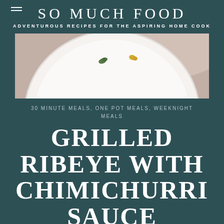SO MUCH FOOD
ADVENTUROUS RECIPES FOR THE ASPIRING HOME COOK
[Figure (photo): Top-down view of a white ceramic plate on a dusty rose/beige textured surface, with small green and yellow food garnishes visible on the plate.]
30 MINUTE MEALS, ONE POT MEALS, WEEKNIGHT MEALS
GRILLED RIBEYE WITH CHIMICHURRI SAUCE
PREP TIME: 10 MINS   COOK TIME: 10 MINS